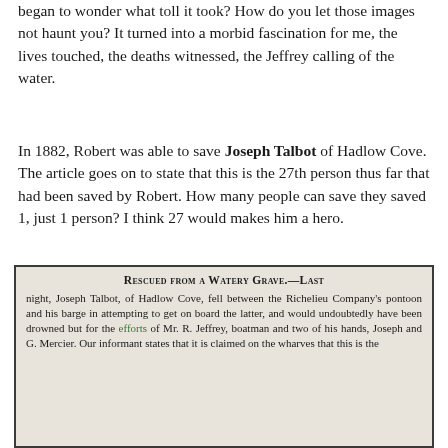began to wonder what toll it took? How do you let those images not haunt you? It turned into a morbid fascination for me, the lives touched, the deaths witnessed, the Jeffrey calling of the water.
In 1882, Robert was able to save Joseph Talbot of Hadlow Cove. The article goes on to state that this is the 27th person thus far that had been saved by Robert. How many people can save they saved 1, just 1 person? I think 27 would makes him a hero.
[Figure (photo): Newspaper clipping with headline 'Rescued from a Watery Grave' describing how Joseph Talbot of Hadlow Cove fell between the Richelieu Company's pontoon and his barge, and was saved by Mr. R. Jeffrey, boatman, and two of his hands, Joseph and G. Mercier. The word 'efforts' is highlighted in green.]